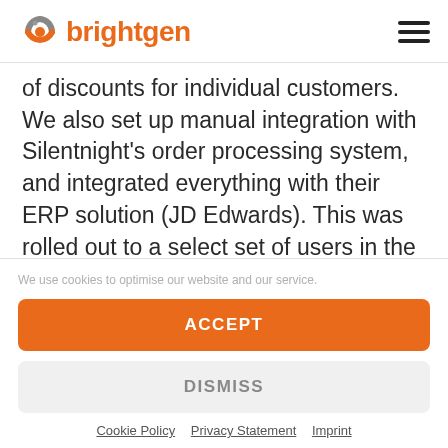[Figure (logo): brightgen logo with orange and grey circular icon and orange text]
of discounts for individual customers. We also set up manual integration with Silentnight's order processing system, and integrated everything with their ERP solution (JD Edwards). This was rolled out to a select set of users in the sales team within
We use cookies to optimise our website and our service.
ACCEPT
DISMISS
Cookie Policy  Privacy Statement  Imprint